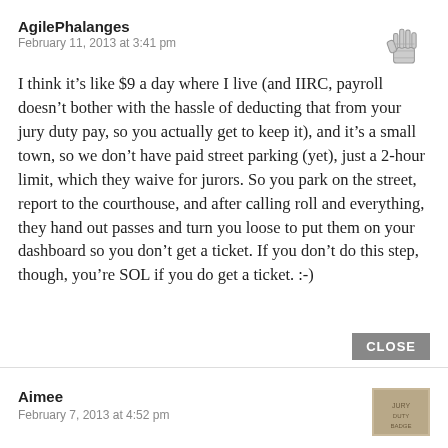AgilePhalanges
February 11, 2013 at 3:41 pm
I think it’s like $9 a day where I live (and IIRC, payroll doesn’t bother with the hassle of deducting that from your jury duty pay, so you actually get to keep it), and it’s a small town, so we don’t have paid street parking (yet), just a 2-hour limit, which they waive for jurors. So you park on the street, report to the courthouse, and after calling roll and everything, they hand out passes and turn you loose to put them on your dashboard so you don’t get a ticket. If you don’t do this step, though, you’re SOL if you do get a ticket. :-)
CLOSE
Aimee
February 7, 2013 at 4:52 pm